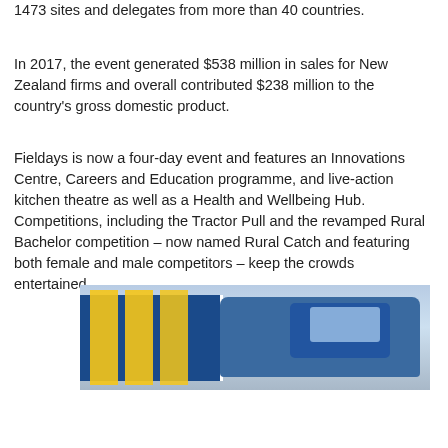1473 sites and delegates from more than 40 countries.
In 2017, the event generated $538 million in sales for New Zealand firms and overall contributed $238 million to the country's gross domestic product.
Fieldays is now a four-day event and features an Innovations Centre, Careers and Education programme, and live-action kitchen theatre as well as a Health and Wellbeing Hub. Competitions, including the Tractor Pull and the revamped Rural Bachelor competition – now named Rural Catch and featuring both female and male competitors – keep the crowds entertained.
[Figure (photo): Outdoor event scene showing yellow banner flags and a tractor (blue), photographed at the Fieldays agricultural event in New Zealand.]